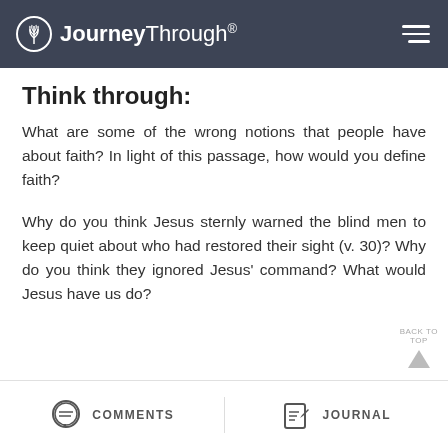JourneyThrough®
Think through:
What are some of the wrong notions that people have about faith? In light of this passage, how would you define faith?
Why do you think Jesus sternly warned the blind men to keep quiet about who had restored their sight (v. 30)? Why do you think they ignored Jesus' command? What would Jesus have us do?
COMMENTS   JOURNAL